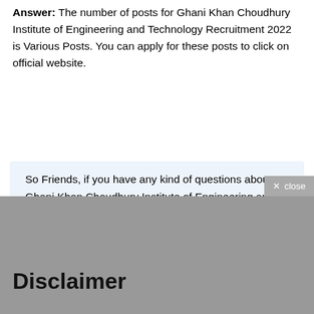Answer: The number of posts for Ghani Khan Choudhury Institute of Engineering and Technology Recruitment 2022 is Various Posts. You can apply for these posts to click on official website.
So Friends, if you have any kind of questions about Ghani Khan Choudhury Institute of Engineering and Technology Recruitment 2022. or you need any other information about job news then you can comment below. If you liked our post, then share it with your friends and help them.
Disclaimer